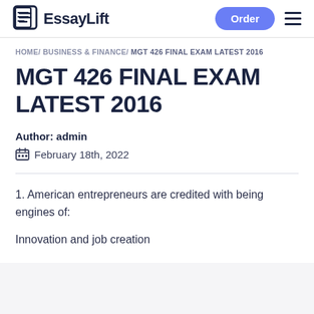EssayLift — Order
HOME/ BUSINESS & FINANCE/ MGT 426 FINAL EXAM LATEST 2016
MGT 426 FINAL EXAM LATEST 2016
Author: admin
February 18th, 2022
1. American entrepreneurs are credited with being engines of:
Innovation and job creation